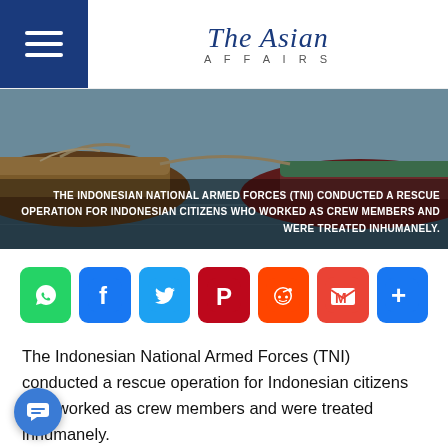The Asian Affairs
[Figure (photo): Fishing boats moored at water with a news caption overlay about Indonesian National Armed Forces rescue operation]
THE INDONESIAN NATIONAL ARMED FORCES (TNI) CONDUCTED A RESCUE OPERATION FOR INDONESIAN CITIZENS WHO WORKED AS CREW MEMBERS AND WERE TREATED INHUMANELY.
[Figure (infographic): Social media share buttons: WhatsApp, Facebook, Twitter, Pinterest, Reddit, Gmail, More]
The Indonesian National Armed Forces (TNI) conducted a rescue operation for Indonesian citizens who worked as crew members and were treated inhumanely.
This action should be appreciated because the TNI can again save Indonesian citizens from alleged human trafficking. Even as many as dozens of Indonesian citizens can be brought back safely to their homeland. Even so, an Indonesian crew member